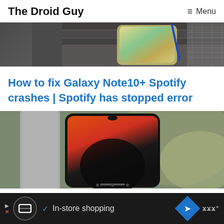The Droid Guy  ≡ Menu
[Figure (photo): Partial top image showing a Samsung Galaxy Note10+ with holographic back cover on a dark wooden surface with a woven texture accessory beside it]
How to fix Galaxy Note10+ Spotify crashes | Spotify has stopped error
[Figure (photo): A smartphone with a red/orange gradient wallpaper held near a concrete pillar with green bokeh background]
In-store shopping